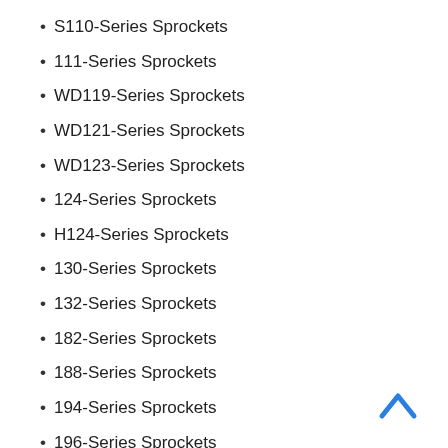S110-Series Sprockets
111-Series Sprockets
WD119-Series Sprockets
WD121-Series Sprockets
WD123-Series Sprockets
124-Series Sprockets
H124-Series Sprockets
130-Series Sprockets
132-Series Sprockets
182-Series Sprockets
188-Series Sprockets
194-Series Sprockets
196-Series Sprockets
197-Series Sprockets